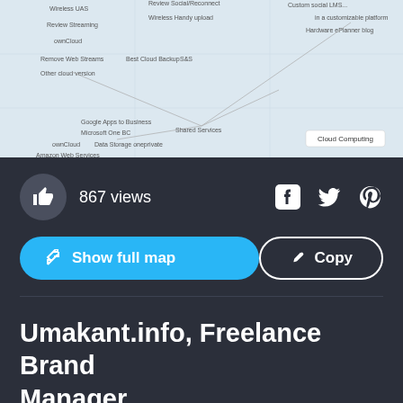[Figure (screenshot): A mind map or network diagram showing cloud computing-related topics on a light blue/grey background. Various nodes and labels are visible including 'Cloud Computing' and various services.]
867 views
[Figure (infographic): Facebook, Twitter, and Pinterest social share icons in white]
Show full map
Copy
Umakant.info, Freelance Brand Manager
••• Other
umakant chaudhari
Follow
Get Started. It's Free